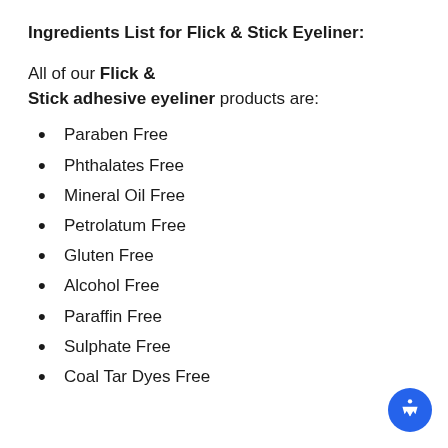Ingredients List for Flick & Stick Eyeliner:
All of our Flick & Stick adhesive eyeliner products are:
Paraben Free
Phthalates Free
Mineral Oil Free
Petrolatum Free
Gluten Free
Alcohol Free
Paraffin Free
Sulphate Free
Coal Tar Dyes Free